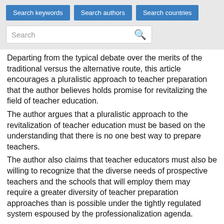Search keywords | Search authors | Search countries
Departing from the typical debate over the merits of the traditional versus the alternative route, this article encourages a pluralistic approach to teacher preparation that the author believes holds promise for revitalizing the field of teacher education.
The author argues that a pluralistic approach to the revitalization of teacher education must be based on the understanding that there is no one best way to prepare teachers.
The author also claims that teacher educators must also be willing to recognize that the diverse needs of prospective teachers and the schools that will employ them may require a greater diversity of teacher preparation approaches than is possible under the tightly regulated system espoused by the professionalization agenda.
The author highlights an innovative approach to teacher education taken by nonuniversity providers that may serve as...